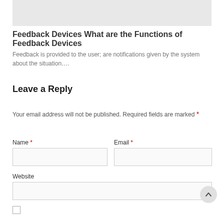[Figure (other): Gray placeholder image/box at the top of the page]
Feedback Devices What are the Functions of Feedback Devices
Feedback is provided to the user; are notifications given by the system about the situation….
Leave a Reply
Your email address will not be published. Required fields are marked *
Name *
Email *
Website